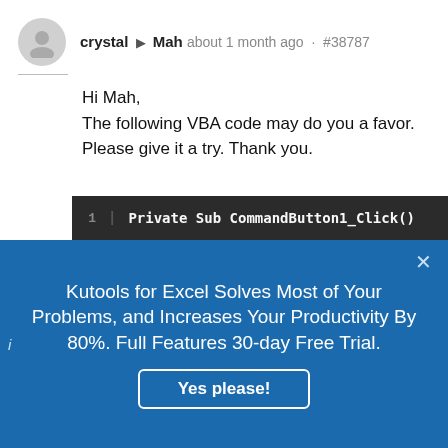crystal ▶ Mah about 1 month ago · #38787
Hi Mah,
The following VBA code may do you a favor. Please give it a try. Thank you.
[Figure (screenshot): Dark code editor block showing line 1 with code: Private Sub CommandButton1_Click()]
[Figure (infographic): Blue advertisement overlay: Kutools for Excel Solves Most of Your Problems, and Increases Your Productivity By 80%. Full Features 30-day Free Trial. Yes please! button.]